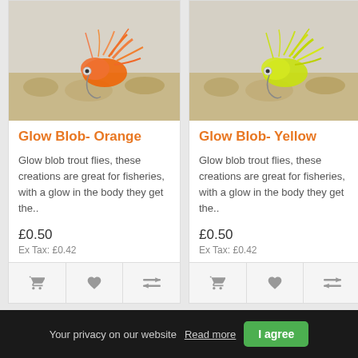[Figure (photo): Orange glow blob fly fishing lure on sandy surface]
Glow Blob- Orange
Glow blob trout flies, these creations are great for fisheries, with a glow in the body they get the..
£0.50
Ex Tax: £0.42
[Figure (photo): Yellow glow blob fly fishing lure on sandy surface]
Glow Blob- Yellow
Glow blob trout flies, these creations are great for fisheries, with a glow in the body they get the..
£0.50
Ex Tax: £0.42
Your privacy on our website  Read more  I agree